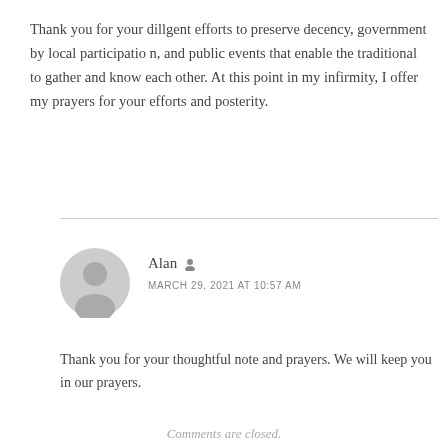Thank you for your diligent efforts to preserve decency, government by local participation, and public events that enable the traditional to gather and know each other. At this point in my infirmity, I offer my prayers for your efforts and posterity.
[Figure (illustration): Gray user avatar icon — a silhouette of a person's head and shoulders in a circle]
Alan
MARCH 29, 2021 AT 10:57 AM
Thank you for your thoughtful note and prayers. We will keep you in our prayers.
Comments are closed.